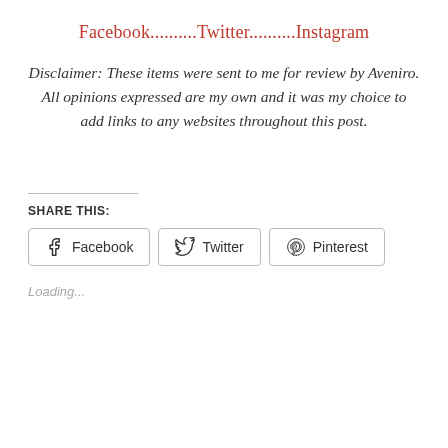Facebook..........Twitter..........Instagram
Disclaimer:  These items were sent to me for review by Aveniro.  All opinions expressed are my own and it was my choice to add links to any websites throughout this post.
SHARE THIS:
[Figure (other): Share buttons: Facebook, Twitter, Pinterest]
Loading...